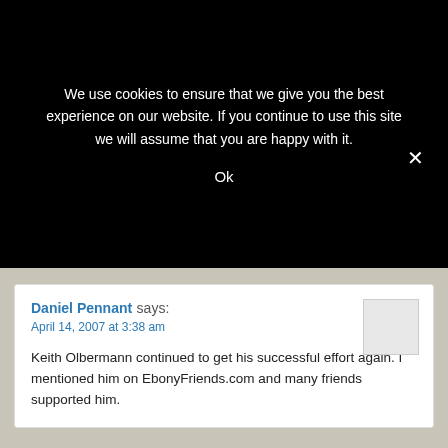We use cookies to ensure that we give you the best experience on our website. If you continue to use this site we will assume that you are happy with it.
Ok
Daniel Pennant says:
April 14, 2007 at 3:38 am

Keith Olbermann continued to get his successful effort again. I mentioned him on EbonyFriends.com and many friends supported him.